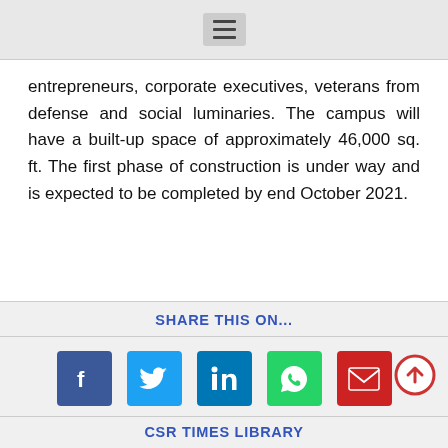≡
entrepreneurs, corporate executives, veterans from defense and social luminaries. The campus will have a built-up space of approximately 46,000 sq. ft. The first phase of construction is under way and is expected to be completed by end October 2021.
SHARE THIS ON...
[Figure (other): Social share icons: Facebook, Twitter, LinkedIn, WhatsApp, Email]
CSR TIMES LIBRARY